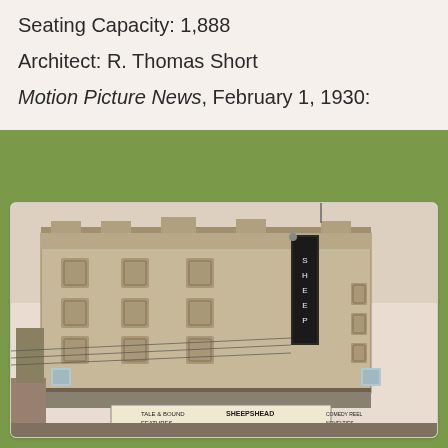Seating Capacity: 1,888
Architect: R. Thomas Short
Motion Picture News, February 1, 1930:
[Figure (photo): Black and white photograph of a large brick movie theater exterior. A vertical marquee sign is visible on the right side of the building. The theater facade features decorative Art Deco architectural elements, ornamental panels, and windows. Signs at the bottom read 'TALE & BOUND', 'FEATURES', 'SHEEPSHEAD', 'COMEDY REEL', 'NOVELTIES'.]